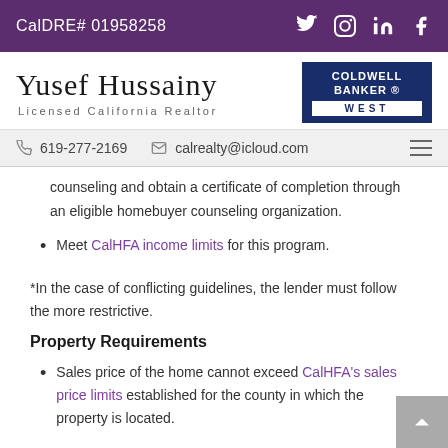CalDRE# 01958258
Yusef Hussainy
Licensed California Realtor
619-277-2169 | calrealty@icloud.com
counseling and obtain a certificate of completion through an eligible homebuyer counseling organization.
Meet CalHFA income limits for this program.
*In the case of conflicting guidelines, the lender must follow the more restrictive.
Property Requirements
Sales price of the home cannot exceed CalHFA's sales price limits established for the county in which the property is located.